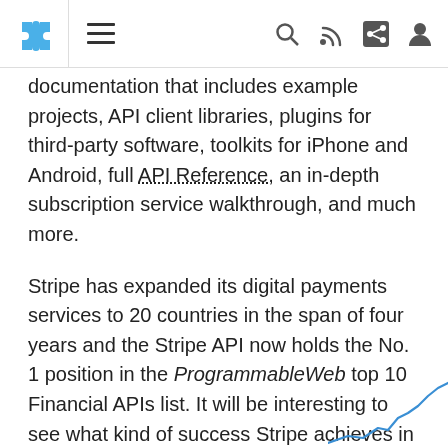[Navigation bar with puzzle icon, hamburger menu, search, RSS, share, and user icons]
documentation that includes example projects, API client libraries, plugins for third-party software, toolkits for iPhone and Android, full API Reference, an in-depth subscription service walkthrough, and much more.
Stripe has expanded its digital payments services to 20 countries in the span of four years and the Stripe API now holds the No. 1 position in the ProgrammableWeb top 10 Financial APIs list. It will be interesting to see what kind of success Stripe achieves in the coming months.
[Figure (continuous-plot): Partial line chart visible in bottom-right corner, showing an upward trending blue line]